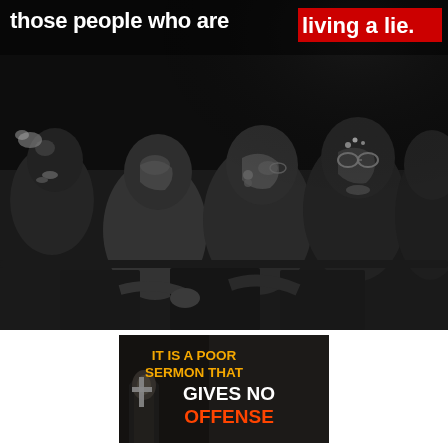[Figure (photo): Black and white photograph of church congregation members seated, viewed from the side, with text overlay at top reading 'those people who are living a lie.' with 'living a lie.' highlighted in red]
[Figure (photo): Second smaller image showing a dark church interior with a cross, and bold text reading 'IT IS A POOR SERMON THAT GIVES NO OFFENSE' in orange and white on dark background]